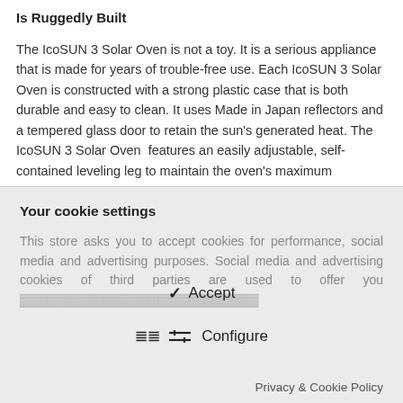Is Ruggedly Built
The IcoSUN 3 Solar Oven is not a toy. It is a serious appliance that is made for years of trouble-free use. Each IcoSUN 3 Solar Oven is constructed with a strong plastic case that is both durable and easy to clean. It uses Made in Japan reflectors and a tempered glass door to retain the sun's generated heat. The IcoSUN 3 Solar Oven  features an easily adjustable, self-contained leveling leg to maintain the oven's maximum exposure
Your cookie settings
This store asks you to accept cookies for performance, social media and advertising purposes. Social media and advertising cookies of third parties are used to offer you
✓ Accept
⇌ Configure
Privacy & Cookie Policy